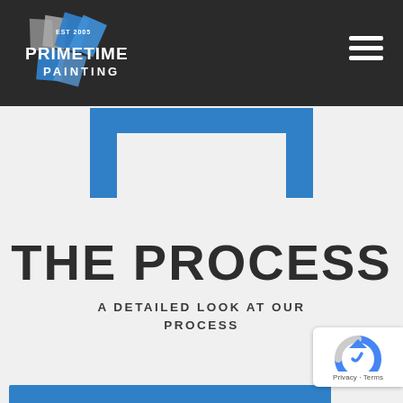Primetime Painting — EST 2005 logo and navigation header
[Figure (logo): Primetime Painting logo with 'EST 2005' text and stylized paint chip shapes in blue and gray, white text reading PRIMETIME PAINTING]
[Figure (other): Hamburger menu icon (three horizontal white lines) in top-right of dark header]
[Figure (other): Blue bracket/portal U-shape graphic centered below the header on light gray background]
THE PROCESS
A DETAILED LOOK AT OUR PROCESS
[Figure (other): Partial blue horizontal bar at the bottom of the page]
[Figure (other): Google reCAPTCHA badge in bottom-right corner showing reCAPTCHA icon and 'Privacy - Terms' text]